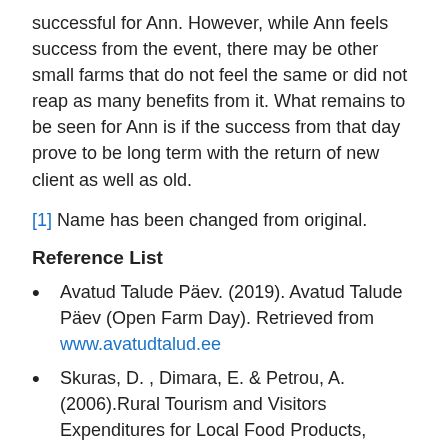successful for Ann. However, while Ann feels success from the event, there may be other small farms that do not feel the same or did not reap as many benefits from it. What remains to be seen for Ann is if the success from that day prove to be long term with the return of new client as well as old.
[1] Name has been changed from original.
Reference List
Avatud Talude Päev. (2019). Avatud Talude Päev (Open Farm Day). Retrieved from www.avatudtalud.ee
Skuras, D. , Dimara, E. & Petrou, A. (2006).Rural Tourism and Visitors Expenditures for Local Food Products, Regional Studies, 40:7, 769-779.